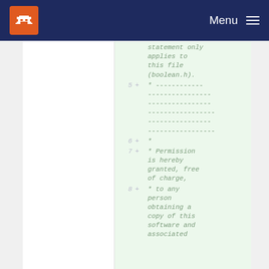Menu
statement only applies to this file (boolean.h).
5 + * -------------------------------------------------------
6 + *
7 + * Permission is hereby granted, free of charge,
8 + * to any person obtaining a copy of this software and associated